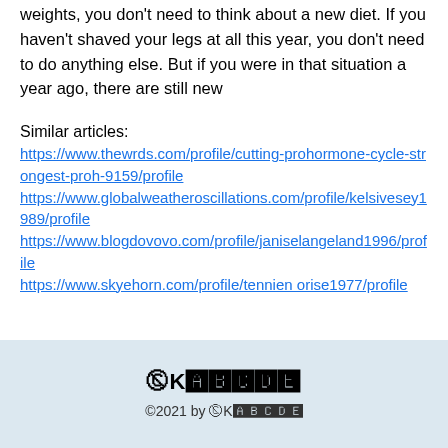weights, you don't need to think about a new diet. If you haven't shaved your legs at all this year, you don't need to do anything else. But if you were in that situation a year ago, there are still new
Similar articles:
https://www.thewrds.com/profile/cutting-prohormone-cycle-strongest-proh-9159/profile
https://www.globalweatheroscillations.com/profile/kelsivesey1989/profile
https://www.blogdovovo.com/profile/janiselangeland1996/profile
https://www.skyehorn.com/profile/tennien orise1977/profile
🅽K🅰🅻🅴🅽🅳 ©2021 by 🅽K🅰🅻🅴🅽🅳